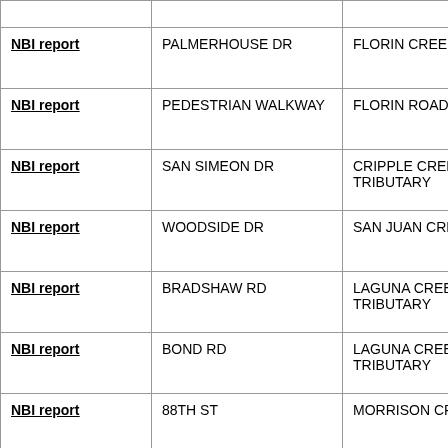|  |  |  |
| --- | --- | --- |
| NBI report | PALMERHOUSE DR | FLORIN CREEK |
| NBI report | PEDESTRIAN WALKWAY | FLORIN ROAD |
| NBI report | SAN SIMEON DR | CRIPPLE CREEK TRIBUTARY |
| NBI report | WOODSIDE DR | SAN JUAN CREEK |
| NBI report | BRADSHAW RD | LAGUNA CREEK TRIBUTARY |
| NBI report | BOND RD | LAGUNA CREEK TRIBUTARY |
| NBI report | 88TH ST | MORRISON CREEK |
| NBI report | ARNO RD | BADGER CREEK |